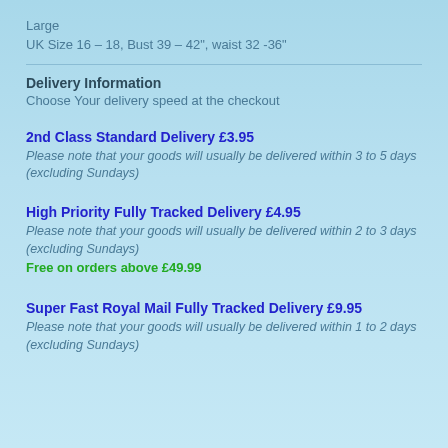Large
UK Size 16 – 18, Bust 39 – 42", waist 32 -36"
Delivery Information
Choose Your delivery speed at the checkout
2nd Class Standard Delivery £3.95
Please note that your goods will usually be delivered within 3 to 5 days (excluding Sundays)
High Priority Fully Tracked Delivery £4.95
Please note that your goods will usually be delivered within 2 to 3 days (excluding Sundays)
Free on orders above £49.99
Super Fast Royal Mail Fully Tracked Delivery £9.95
Please note that your goods will usually be delivered within 1 to 2 days (excluding Sundays)